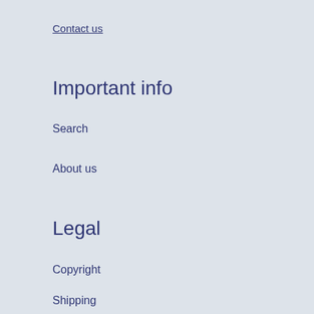Contact us
Important info
Search
About us
Legal
Copyright
Shipping